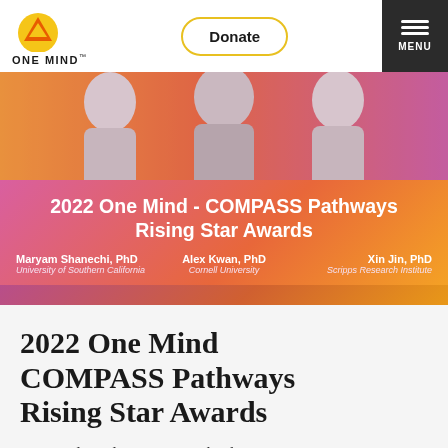ONE MIND — navigation bar with Donate button and Menu
[Figure (photo): Hero banner with black-and-white photos of three award recipients on a gradient orange-pink background]
[Figure (infographic): 2022 One Mind - COMPASS Pathways Rising Star Awards banner listing Maryam Shanechi PhD (University of Southern California), Alex Kwan PhD (Cornell University), Xin Jin PhD (Scripps Research Institute)]
2022 One Mind COMPASS Pathways Rising Star Awards
We are pleased to announce the three